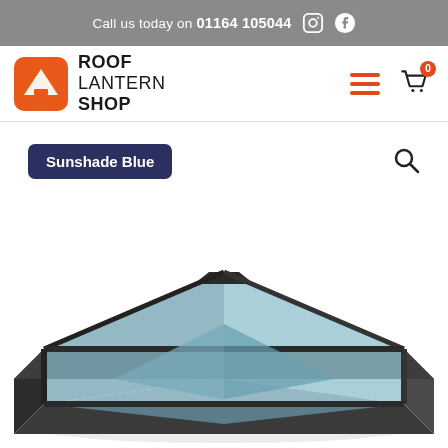Call us today on 01164 105044
[Figure (logo): Roof Lantern Shop logo with orange R icon and company name]
Sunshade Blue
[Figure (photo): A roof lantern skylight with dark grey aluminium frame and blue-tinted glass panels, photographed at an angle showing the pyramid ridge structure]